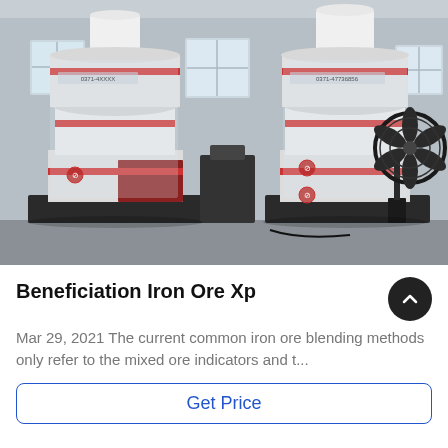[Figure (photo): Factory interior showing two large white industrial grinding/milling machines wrapped in plastic packaging with red stripe bands, sitting on black metal frames. A large black industrial fan is visible on the right side. The setting is an industrial warehouse with natural light from windows.]
Beneficiation Iron Ore Xp
Mar 29, 2021 The current common iron ore blending methods only refer to the mixed ore indicators and t...
Get Price